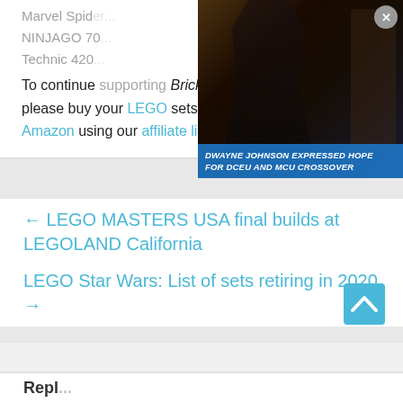Marvel Spider- ... Tech NINJAGO 70... Technic 420...
[Figure (photo): Advertisement overlay showing Dwayne Johnson in Black Adam costume with text 'DWAYNE JOHNSON EXPRESSED HOPE FOR DCEU AND MCU CROSSOVER' on a blue banner, with a gray close (X) button in the top right corner.]
To continue supporting Brick Fanatics, please buy your LEGO sets from LEGO.com and Amazon using our affiliate links.
← LEGO MASTERS USA final builds at LEGOLAND California
LEGO Star Wars: List of sets retiring in 2020 →
[Figure (other): Back to top chevron arrow button in teal/cyan color]
Repl...